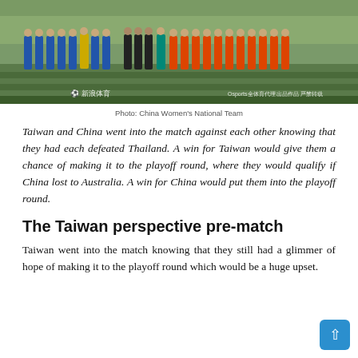[Figure (photo): Team photo of China Women's National Team and Taiwan women's national football team lined up on a green grass field before a match. Left side players wear blue and one in yellow goalkeeper kit, right side players wear orange/red. Referees in black stand in the middle. Stadium stands visible in background. Watermarks from Sina Sports and Osports visible.]
Photo: China Women's National Team
Taiwan and China went into the match against each other knowing that they had each defeated Thailand. A win for Taiwan would give them a chance of making it to the playoff round, where they would qualify if China lost to Australia. A win for China would put them into the playoff round.
The Taiwan perspective pre-match
Taiwan went into the match knowing that they still had a glimmer of hope of making it to the playoff round which would be a huge upset.